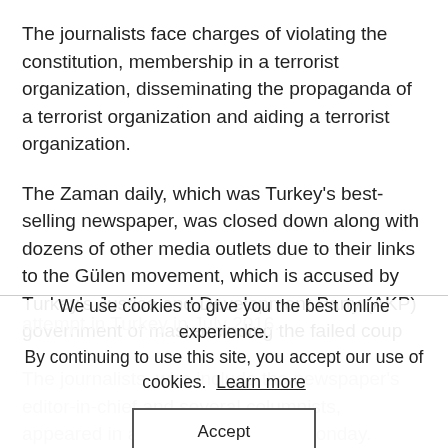The journalists face charges of violating the constitution, membership in a terrorist organization, disseminating the propaganda of a terrorist organization and aiding a terrorist organization.
The Zaman daily, which was Turkey's best-selling newspaper, was closed down along with dozens of other media outlets due to their links to the Gülen movement, which is accused by Turkey's Justice and Development Party (AKP) government of masterminding the failed coup
We use cookies to give you the best online experience. By continuing to use this site, you accept our use of cookies. Learn more
Accept